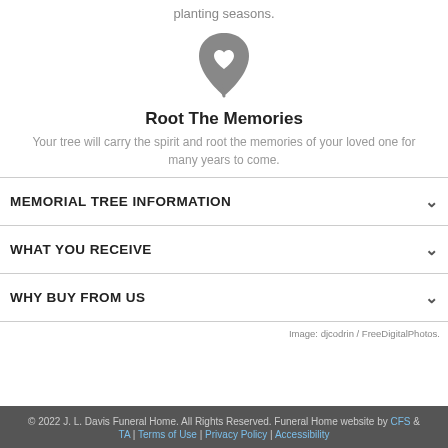planting seasons.
[Figure (illustration): A leaf icon with a heart cutout in the center, gray colored]
Root The Memories
Your tree will carry the spirit and root the memories of your loved one for many years to come.
MEMORIAL TREE INFORMATION
WHAT YOU RECEIVE
WHY BUY FROM US
Image: djcodrin / FreeDigitalPhotos.
© 2022 J. L. Davis Funeral Home. All Rights Reserved. Funeral Home website by CFS & TA | Terms of Use | Privacy Policy | Accessibility